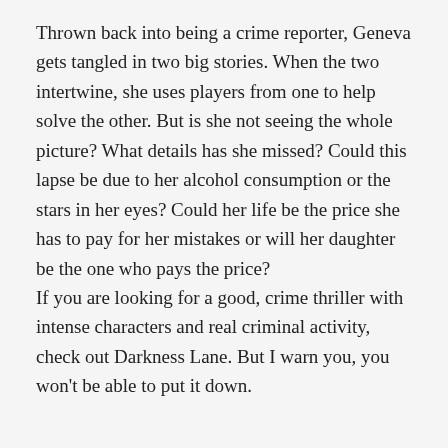Thrown back into being a crime reporter, Geneva gets tangled in two big stories. When the two intertwine, she uses players from one to help solve the other. But is she not seeing the whole picture? What details has she missed? Could this lapse be due to her alcohol consumption or the stars in her eyes? Could her life be the price she has to pay for her mistakes or will her daughter be the one who pays the price? If you are looking for a good, crime thriller with intense characters and real criminal activity, check out Darkness Lane. But I warn you, you won't be able to put it down.